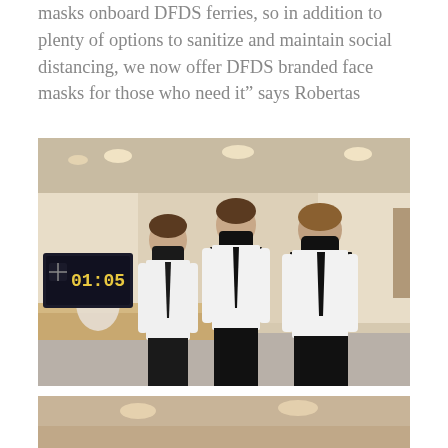masks onboard DFDS ferries, so in addition to plenty of options to sanitize and maintain social distancing, we now offer DFDS branded face masks for those who need it” says Robertas
[Figure (photo): Three DFDS ferry staff members in white shirts and black ties wearing black face masks, standing in a ferry interior lobby. A digital clock display showing 01:05 is visible on the left, and white orchids on a wooden counter are also visible.]
[Figure (photo): Partial view of a DFDS ferry interior showing ceiling with recessed lighting, warm beige tones. Bottom portion of the page, cropped.]